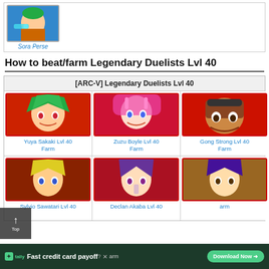[Figure (illustration): Character card for Sora Perse with blue/cyan background showing anime character with duel disk]
How to beat/farm Legendary Duelists Lvl 40
| [ARC-V] Legendary Duelists Lvl 40 |
| --- |
| Yuya Sakaki Lvl 40 Farm | Zuzu Boyle Lvl 40 Farm | Gong Strong Lvl 40 Farm |
| Sylvio Sawatari Lvl 40 | Declan Akaba Lvl 40 | arm |